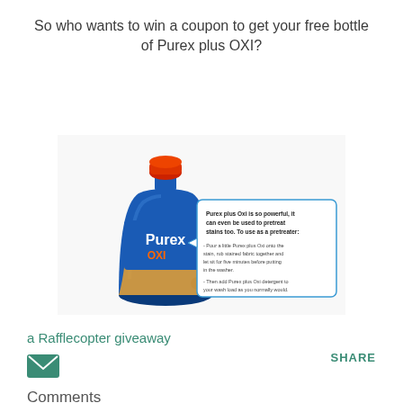So who wants to win a coupon to get your free bottle of Purex plus OXI?
[Figure (photo): Purex plus OXI laundry detergent bottle with a blue tooltip box showing usage instructions as a pretreater. The box says: 'Purex plus Oxi is so powerful, it can even be used to pretreat stains too. To use as a pretreater:' followed by two bullet points about application.]
a Rafflecopter giveaway
SHARE
Comments